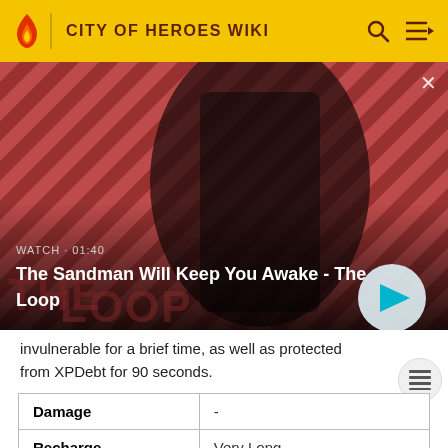CITY OF HEROES WIKI
[Figure (screenshot): Video thumbnail for 'The Sandman Will Keep You Awake - The Loop' showing a dark-caped figure with a crow against a red diagonal-striped background. WATCH · 01:40 label and play button visible.]
invulnerable for a brief time, as well as protected from XPDebt for 90 seconds.
| Damage | - |
| Recharge | Very Long |